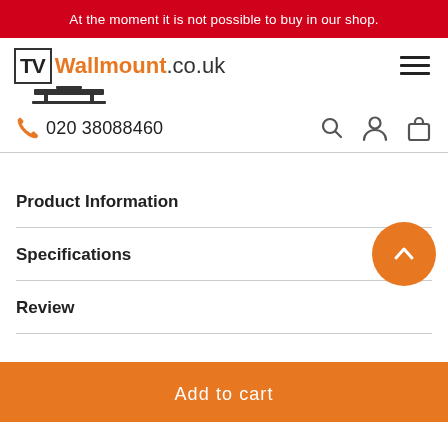At the moment it is not possible to buy in our shop.
[Figure (logo): TV Wallmount.co.uk logo with hamburger menu icon]
020 38088460
Product Information
Specifications
Review
Add to cart